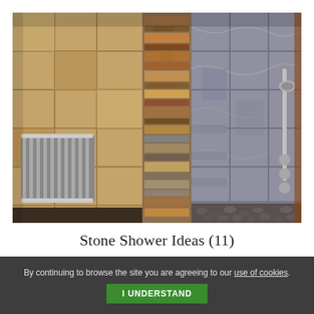[Figure (photo): Interior bathroom photo showing two stone shower stalls side by side. Left shower has warm tan/beige large stone tiles and a chrome heated towel rail. Center divider features stacked natural slate ledger stones in brown and grey tones. Right shower has grey marble-style large tiles, built-in corner shelves, a pebble stone floor, and chrome shower fixtures on the right wall.]
Stone Shower Ideas (11)
By continuing to browse the site you are agreeing to our use of cookies.
I UNDERSTAND